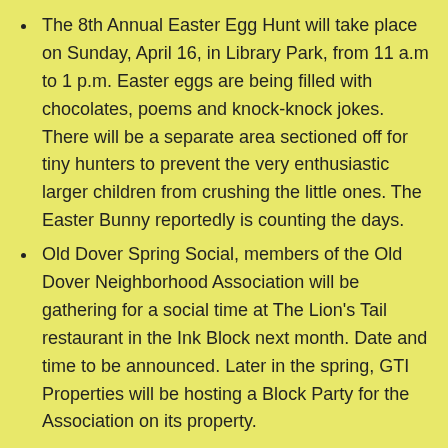The 8th Annual Easter Egg Hunt will take place on Sunday, April 16, in Library Park, from 11 a.m to 1 p.m. Easter eggs are being filled with chocolates, poems and knock-knock jokes. There will be a separate area sectioned off for tiny hunters to prevent the very enthusiastic larger children from crushing the little ones. The Easter Bunny reportedly is counting the days.
Old Dover Spring Social, members of the Old Dover Neighborhood Association will be gathering for a social time at The Lion's Tail restaurant in the Ink Block next month. Date and time to be announced. Later in the spring, GTI Properties will be hosting a Block Party for the Association on its property.
The Old Dover Neighborhood Association will meet on Tuesday, April 18, 6:30 p.m. at Project Place. The meeting will include safety updates, a presentation by the Abbey Group for Exchange South End, Rep. Aaron Michlewitz address and Council Candidate Mike Kelley meet/greet.
O'Day Bike Tune Up, The Boston Police, IBA, the new